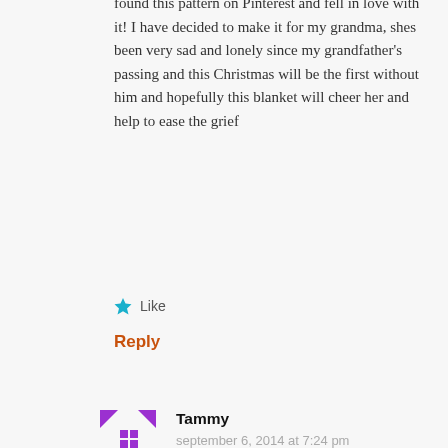found this pattern on Pinterest and fell in love with it! I have decided to make it for my grandma, shes been very sad and lonely since my grandfather's passing and this Christmas will be the first without him and hopefully this blanket will cheer her and help to ease the grief
★ Like
Reply
Tammy
september 6, 2014 at 7:24 pm
This is beautiful. And the tutorial is very easy to follow. Thank you.
★ Like